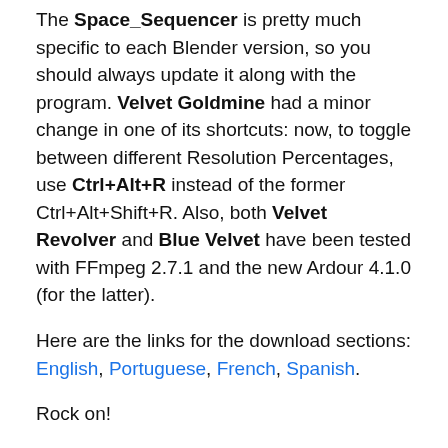The Space_Sequencer is pretty much specific to each Blender version, so you should always update it along with the program. Velvet Goldmine had a minor change in one of its shortcuts: now, to toggle between different Resolution Percentages, use Ctrl+Alt+R instead of the former Ctrl+Alt+Shift+R. Also, both Velvet Revolver and Blue Velvet have been tested with FFmpeg 2.7.1 and the new Ardour 4.1.0 (for the latter).
Here are the links for the download sections: English, Portuguese, French, Spanish.
Rock on!